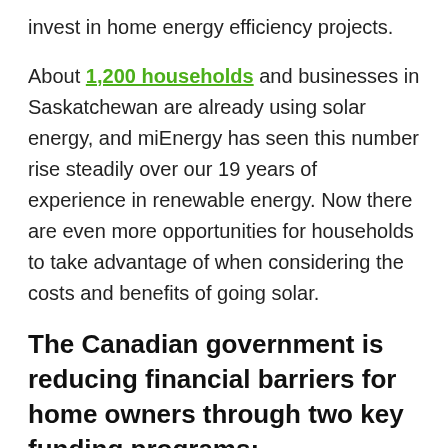invest in home energy efficiency projects.
About 1,200 households and businesses in Saskatchewan are already using solar energy, and miEnergy has seen this number rise steadily over our 19 years of experience in renewable energy. Now there are even more opportunities for households to take advantage of when considering the costs and benefits of going solar.
The Canadian government is reducing financial barriers for home owners through two key funding programs:
$5,000 – Greener Homes Grants Fund
– Up to 700,000 grants of up to $5,000 to